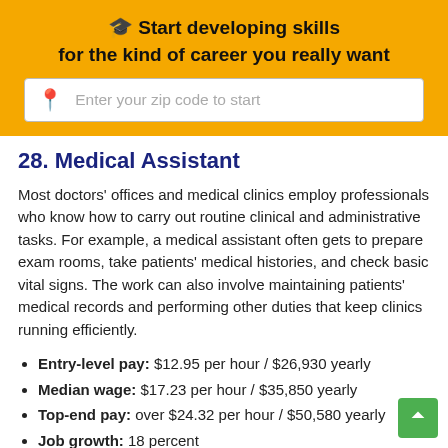🎓 Start developing skills for the kind of career you really want
Enter your zip code to start
28. Medical Assistant
Most doctors' offices and medical clinics employ professionals who know how to carry out routine clinical and administrative tasks. For example, a medical assistant often gets to prepare exam rooms, take patients' medical histories, and check basic vital signs. The work can also involve maintaining patients' medical records and performing other duties that keep clinics running efficiently.
Entry-level pay: $12.95 per hour / $26,930 yearly
Median wage: $17.23 per hour / $35,850 yearly
Top-end pay: over $24.32 per hour / $50,580 yearly
Job growth: 18 percent